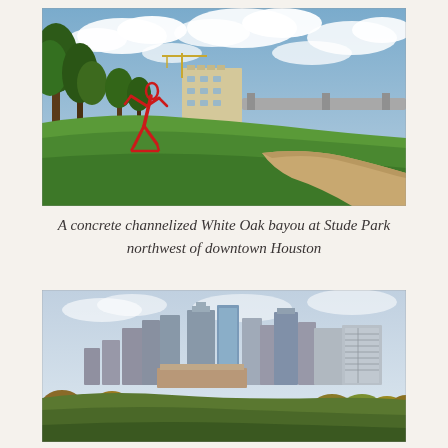[Figure (photo): A park scene with green grass, tall trees on the left, a red abstract sculpture/figure in the center-left, a construction building in the background, cloudy sky, and a pathway curving to the right. White Oak bayou at Stude Park, northwest of downtown Houston.]
A concrete channelized White Oak bayou at Stude Park northwest of downtown Houston
[Figure (photo): The Houston downtown skyline with tall skyscrapers visible against a pale blue sky, trees in the foreground with autumn colors, and a building in the lower center.]